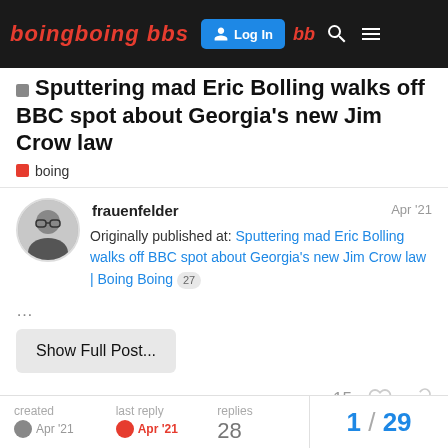boing boing bbs — Log In — bb — search — menu
Sputtering mad Eric Bolling walks off BBC spot about Georgia's new Jim Crow law
boing
frauenfelder   Apr '21
Originally published at: Sputtering mad Eric Bolling walks off BBC spot about Georgia's new Jim Crow law | Boing Boing 27
…
Show Full Post...
15
created Apr '21   last reply Apr '21   28 replies   1 / 29